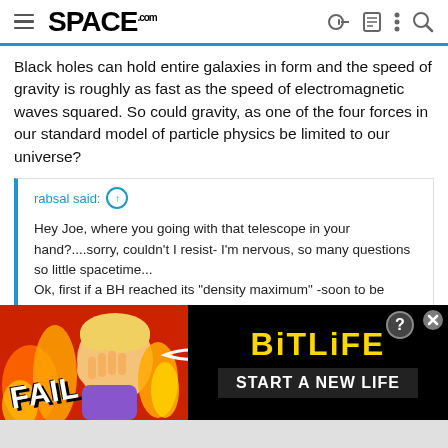SPACE.com
Black holes can hold entire galaxies in form and the speed of gravity is roughly as fast as the speed of electromagnetic waves squared. So could gravity, as one of the four forces in our standard model of particle physics be limited to our universe?
rabsal said: ↑

Hey Joe, where you going with that telescope in your hand?....sorry, couldn't I resist- I'm nervous, so many questions so little spacetime...
Ok, first if a BH reached its "density maximum" -soon to be determined, by me hopefully-and collapsed "again" ripping a hole in spacetime and then became a "whitehole" or expansive in energy then its energy would be FTLS(faster than light speed), or
[Figure (screenshot): BitLife advertisement banner with FAIL text and START A NEW LIFE tagline]